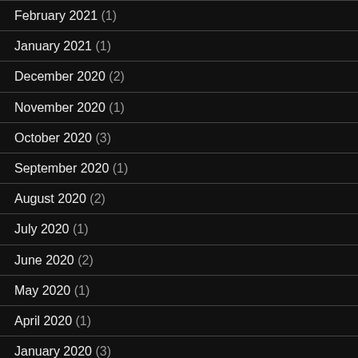February 2021 (1)
January 2021 (1)
December 2020 (2)
November 2020 (1)
October 2020 (3)
September 2020 (1)
August 2020 (2)
July 2020 (1)
June 2020 (2)
May 2020 (1)
April 2020 (1)
January 2020 (3)